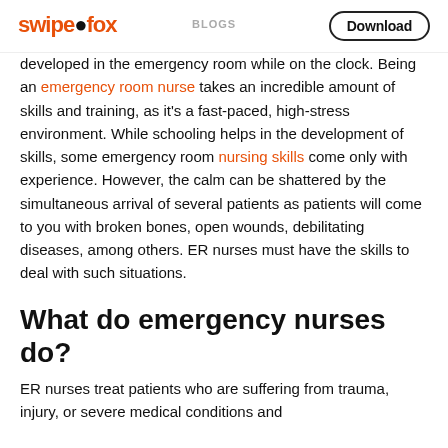swipefox | BLOGS | Download
developed in the emergency room while on the clock. Being an emergency room nurse takes an incredible amount of skills and training, as it's a fast-paced, high-stress environment. While schooling helps in the development of skills, some emergency room nursing skills come only with experience. However, the calm can be shattered by the simultaneous arrival of several patients as patients will come to you with broken bones, open wounds, debilitating diseases, among others. ER nurses must have the skills to deal with such situations.
What do emergency nurses do?
ER nurses treat patients who are suffering from trauma, injury, or severe medical conditions and